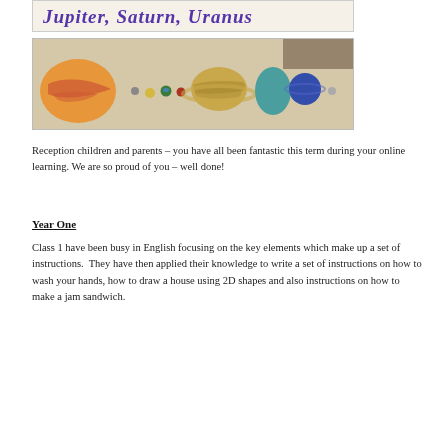[Figure (photo): Handwritten text on paper reading 'Jupiter, Saturn, Uranus' in purple crayon/marker, child's handwriting]
[Figure (photo): Photo of handmade solar system model laid out on a wooden table, showing painted planet cutouts in sequence from left to right: a large orange/red Jupiter, small inner planets, a striped Saturn, an elongated shape, and blue/teal outer planets]
Reception children and parents – you have all been fantastic this term during your online learning. We are so proud of you – well done!
Year One
Class 1 have been busy in English focusing on the key elements which make up a set of instructions.  They have then applied their knowledge to write a set of instructions on how to wash your hands, how to draw a house using 2D shapes and also instructions on how to make a jam sandwich.